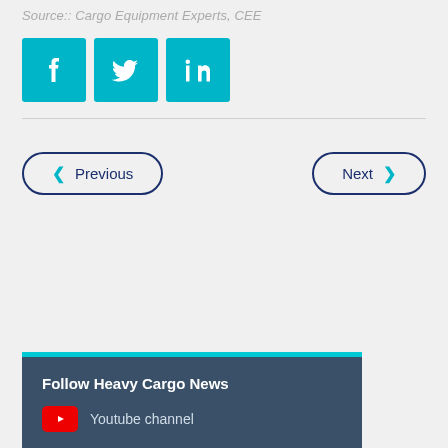Source:: Cargo Equipment Experts, CEE
[Figure (illustration): Social media icons: Facebook, Twitter, LinkedIn — teal square buttons with white logos]
Previous | Next navigation buttons
Follow Heavy Cargo News
Youtube channel